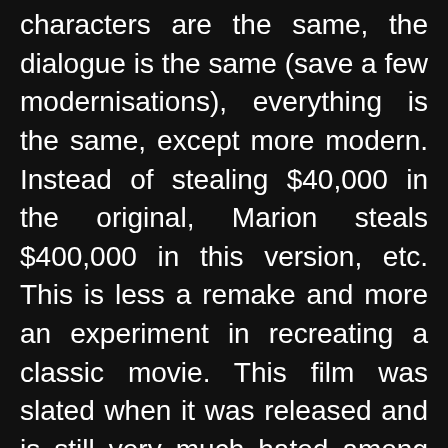characters are the same, the dialogue is the same (save a few modernisations), everything is the same, except more modern. Instead of stealing $40,000 in the original, Marion steals $400,000 in this version, etc. This is less a remake and more an experiment in recreating a classic movie. This film was slated when it was released and is still very much hated among Psycho fans. I'm a Psycho fan, so what do I think?

I just don't have the hatred toward this film like others do. Is it as good as the original? Of course not, it's not even